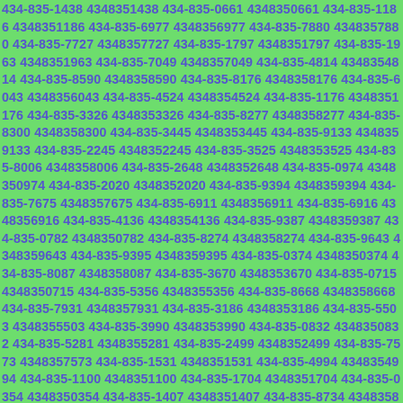434-835-1438 4348351438 434-835-0661 4348350661 434-835-1186 4348351186 434-835-6977 4348356977 434-835-7880 4348357880 434-835-7727 4348357727 434-835-1797 4348351797 434-835-1963 4348351963 434-835-7049 4348357049 434-835-4814 4348354814 434-835-8590 4348358590 434-835-8176 4348358176 434-835-6043 4348356043 434-835-4524 4348354524 434-835-1176 4348351176 434-835-3326 4348353326 434-835-8277 4348358277 434-835-8300 4348358300 434-835-3445 4348353445 434-835-9133 4348359133 434-835-2245 4348352245 434-835-3525 4348353525 434-835-8006 4348358006 434-835-2648 4348352648 434-835-0974 4348350974 434-835-2020 4348352020 434-835-9394 4348359394 434-835-7675 4348357675 434-835-6911 4348356911 434-835-6916 4348356916 434-835-4136 4348354136 434-835-9387 4348359387 434-835-0782 4348350782 434-835-8274 4348358274 434-835-9643 4348359643 434-835-9395 4348359395 434-835-0374 4348350374 434-835-8087 4348358087 434-835-3670 4348353670 434-835-0715 4348350715 434-835-5356 4348355356 434-835-8668 4348358668 434-835-7931 4348357931 434-835-3186 4348353186 434-835-5503 4348355503 434-835-3990 4348353990 434-835-0832 4348350832 434-835-5281 4348355281 434-835-2499 4348352499 434-835-7573 4348357573 434-835-1531 4348351531 434-835-4994 4348354994 434-835-1100 4348351100 434-835-1704 4348351704 434-835-0354 4348350354 434-835-1407 4348351407 434-835-8734 4348358734 434-835-1881 4348351881 434-835-7913 4348357913 434-835-7725 4348357725 434-835-0327 4348350327 434-835-7327 4348357327 434-835-808